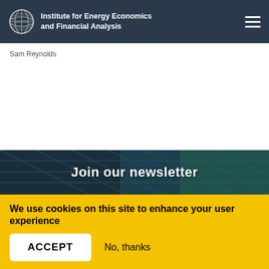Institute for Energy Economics and Financial Analysis
Sam Reynolds
[Figure (photo): Solar panel aerial view used as background for newsletter section]
Join our newsletter
We use cookies on this site to enhance your user experience
By clicking the Accept button, you agree to us doing so. More info
ACCEPT   No, thanks